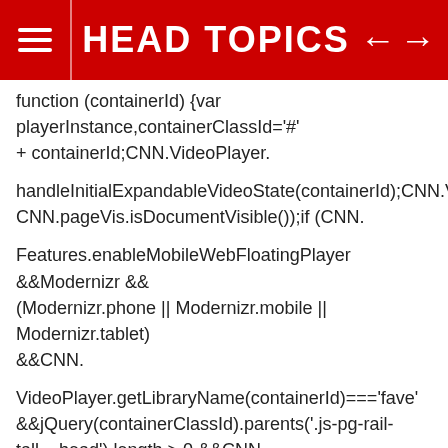HEAD TOPICS
function (containerId) {var playerInstance,containerClassId='#' + containerId;CNN.VideoPlayer.
handleInitialExpandableVideoState(containerId);CNN.VideoPlayer.h CNN.pageVis.isDocumentVisible());if (CNN.
Features.enableMobileWebFloatingPlayer &&Modernizr && (Modernizr.phone || Modernizr.mobile || Modernizr.tablet) &&CNN.
VideoPlayer.getLibraryName(containerId)==='fave' &&jQuery(containerClassId).parents('.js-pg-rail-tall__head').length > 0 &&CNN.
contentModel.pageType==='article') {playerInstance=FAVE.player.getInstance(containerId);mobilePinne CNN.MobilePinnedView({element: jQuery(containerClassId),enabled: false,transition: CNN.
MobileWebFloatingPlayer.transition.onPin; function ()